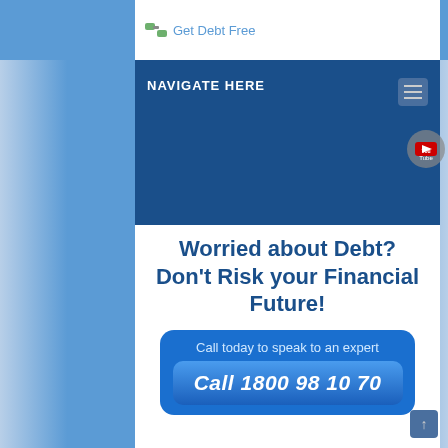[Figure (logo): Get Debt Free logo with broken chain link icon and text 'Get Debt Free']
NAVIGATE HERE
[Figure (screenshot): YouTube button icon in circular grey background]
Worried about Debt? Don't Risk your Financial Future!
Call today to speak to an expert
Call 1800 98 10 70